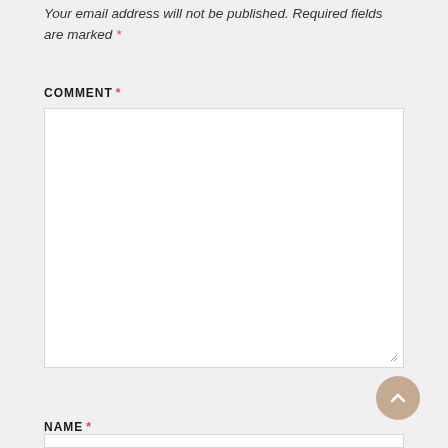Your email address will not be published. Required fields are marked *
COMMENT *
[Figure (screenshot): Empty comment textarea input box with resize handle in bottom-right corner]
[Figure (other): Scroll-to-top circular button with upward arrow icon]
NAME *
[Figure (screenshot): Empty name text input box]